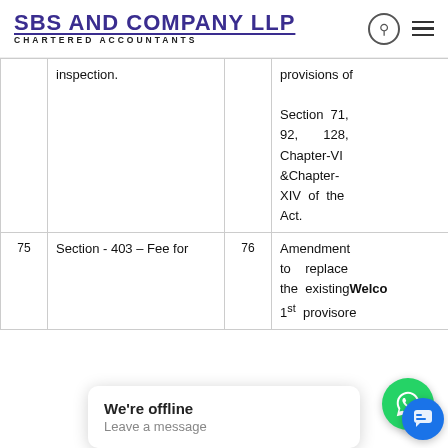SBS AND COMPANY LLP CHARTERED ACCOUNTANTS
| # | Section/Topic | # | Description |  |
| --- | --- | --- | --- | --- |
|  | inspection. |  | provisions of Section 71, 92, 128, Chapter-VI &Chapter-XIV of the Act. |  |
| 75 | Section - 403 – Fee for | 76 | Amendment to replace the existing 1st provisore... | Amendm... |